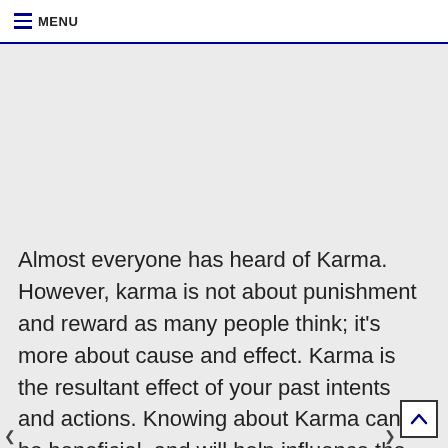≡ MENU
Almost everyone has heard of Karma. However, karma is not about punishment and reward as many people think; it's more about cause and effect. Karma is the resultant effect of your past intents and actions. Knowing about Karma can be beneficial, and will help influence the way you deal with others.